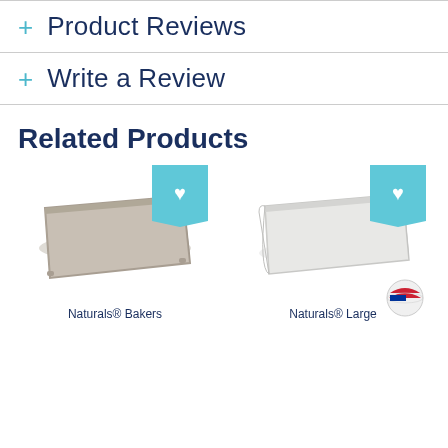+ Product Reviews
+ Write a Review
Related Products
[Figure (photo): Product card showing a gray baking sheet (Naturals® Bakers) with a teal heart badge in the top-right corner]
[Figure (photo): Product card showing a white/silver baking sheet (Naturals® Large) with a teal heart badge in the top-right corner]
Naturals® Bakers
Naturals® Large